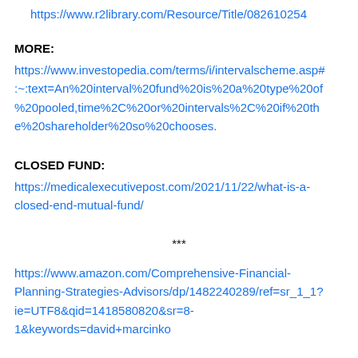https://www.r2library.com/Resource/Title/082610254
MORE:
https://www.investopedia.com/terms/i/intervalscheme.asp#:~:text=An%20interval%20fund%20is%20a%20type%20of%20pooled,time%2C%20or%20intervals%2C%20if%20the%20shareholder%20so%20chooses.
CLOSED FUND:
https://medicalexecutivepost.com/2021/11/22/what-is-a-closed-end-mutual-fund/
***
https://www.amazon.com/Comprehensive-Financial-Planning-Strategies-Advisors/dp/1482240289/ref=sr_1_1?ie=UTF8&qid=1418580820&sr=8-1&keywords=david+marcinko